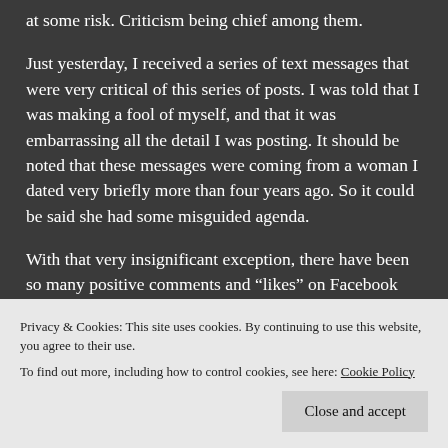at some risk. Criticism being chief among them.
Just yesterday, I received a series of text messages that were very critical of this series of posts. I was told that I was making a fool of myself, and that it was embarrassing all the detail I was posting. It should be noted that these messages were coming from a woman I dated very briefly more than four years ago. So it could be said she had some misguided agenda.
With that very insignificant exception, there have been so many positive comments and “likes” on Facebook and here on my blog site. Many are friends of mine, and
Privacy & Cookies: This site uses cookies. By continuing to use this website, you agree to their use.
To find out more, including how to control cookies, see here: Cookie Policy
encouragement. I don’t know exactly what I expected